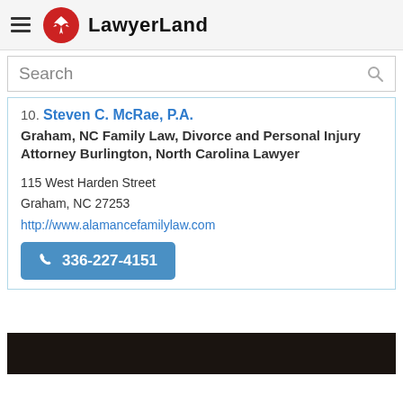LawyerLand
Search
10. Steven C. McRae, P.A. - Graham, NC Family Law, Divorce and Personal Injury Attorney Burlington, North Carolina Lawyer - 115 West Harden Street, Graham, NC 27253 - http://www.alamancefamilylaw.com - 336-227-4151
[Figure (other): Dark footer bar at bottom of page]